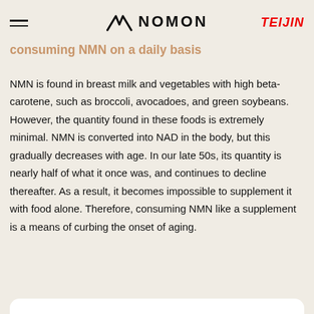NOMON (with TEIJIN logo)
consuming NMN on a daily basis
NMN is found in breast milk and vegetables with high beta-carotene, such as broccoli, avocadoes, and green soybeans. However, the quantity found in these foods is extremely minimal. NMN is converted into NAD in the body, but this gradually decreases with age. In our late 50s, its quantity is nearly half of what it once was, and continues to decline thereafter. As a result, it becomes impossible to supplement it with food alone. Therefore, consuming NMN like a supplement is a means of curbing the onset of aging.